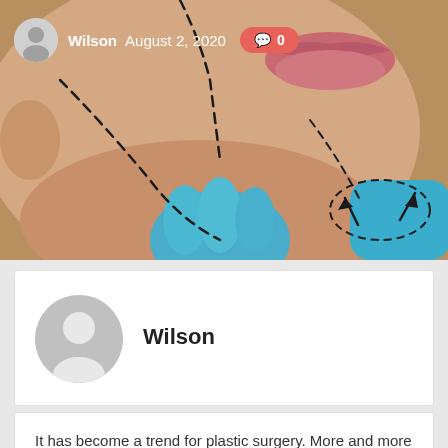[Figure (photo): Close-up photo of a person's lower face and jaw with dashed surgical marking lines drawn on the skin, and blue-gloved hands visible, indicating plastic surgery consultation markings.]
Wilson  August 2, 2020  💬 0
Wilson
It has become a trend for plastic surgery. More and more